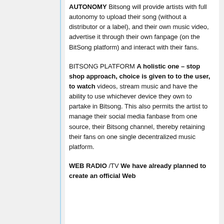AUTONOMY Bitsong will provide artists with full autonomy to upload their song (without a distributor or a label), and their own music video, advertise it through their own fanpage (on the BitSong platform) and interact with their fans.
BITSONG PLATFORM A holistic one – stop shop approach, choice is given to to the user, to watch videos, stream music and have the ability to use whichever device they own to partake in Bitsong. This also permits the artist to manage their social media fanbase from one source, their Bitsong channel, thereby retaining their fans on one single decentralized music platform.
WEB RADIO /TV We have already planned to create an official Web